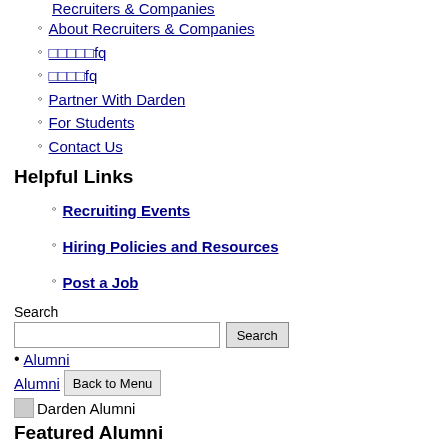Recruiters & Companies
About Recruiters & Companies
□□□□□fq
□□□□fq
Partner With Darden
For Students
Contact Us
Helpful Links
Recruiting Events
Hiring Policies and Resources
Post a Job
Search
Alumni
Alumni  Back to Menu
Darden Alumni
Featured Alumni